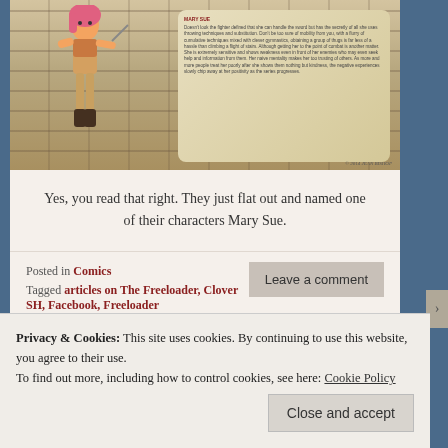[Figure (illustration): Comic book illustration of a pink-haired female character with a scroll/parchment background containing text, against a stone wall backdrop. Copyright 2014 Jean Bishop noted at bottom right.]
Yes, you read that right. They just flat out and named one of their characters Mary Sue.
Posted in Comics
Tagged articles on The Freeloader, Clover SH, Facebook, Freeloader
Leave a comment
Privacy & Cookies: This site uses cookies. By continuing to use this website, you agree to their use.
To find out more, including how to control cookies, see here: Cookie Policy
Close and accept